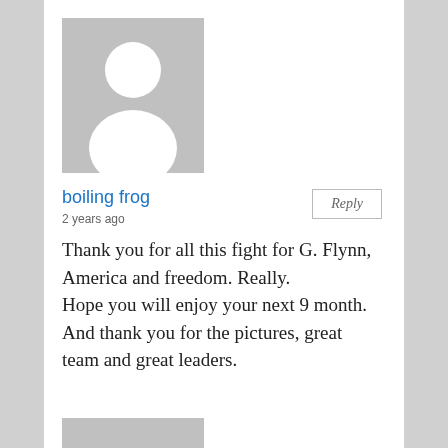[Figure (illustration): Gray placeholder avatar image showing a generic person silhouette (head and shoulders) in white on gray background]
boiling frog
2 years ago
Reply
Thank you for all this fight for G. Flynn, America and freedom. Really.
Hope you will enjoy your next 9 month.
And thank you for the pictures, great team and great leaders.
[Figure (illustration): Partial gray placeholder avatar at bottom of page]